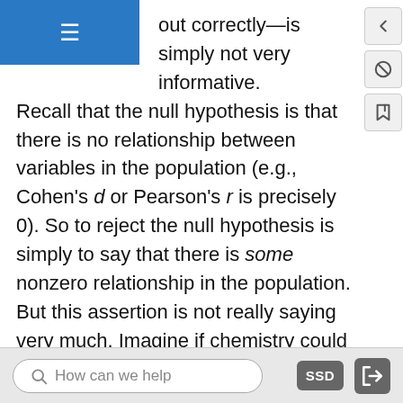out correctly—is simply not very informative. Recall that the null hypothesis is that there is no relationship between variables in the population (e.g., Cohen's d or Pearson's r is precisely 0). So to reject the null hypothesis is simply to say that there is some nonzero relationship in the population. But this assertion is not really saying very much. Imagine if chemistry could tell us only that there is some relationship between the temperature of a gas and its volume—as opposed to providing a precise equation to describe that relationship. Some critics even argue that the relationship between two variables in the population is never precisely 0 if it is carried out to enough decimal places. In other words, the null hypothesis is never literally true. So rejecting it does
How can we help